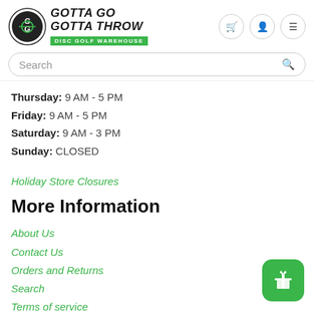Gotta Go Gotta Throw - Disc Golf Warehouse
Thursday: 9 AM - 5 PM
Friday: 9 AM - 5 PM
Saturday: 9 AM - 3 PM
Sunday: CLOSED
Holiday Store Closures
More Information
About Us
Contact Us
Orders and Returns
Search
Terms of service
Refund Policy
Privacy Policy